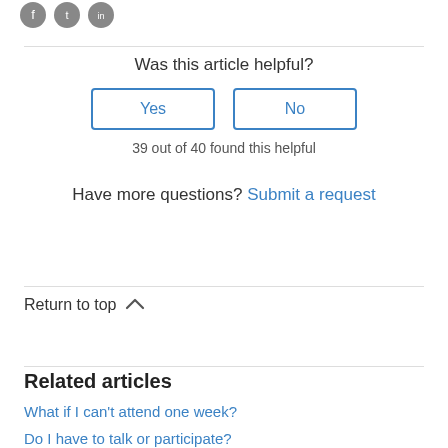[Figure (other): Social media share icons: Facebook, Twitter, LinkedIn]
Was this article helpful?
Yes
No
39 out of 40 found this helpful
Have more questions? Submit a request
Return to top
Related articles
What if I can't attend one week?
Do I have to talk or participate?
Can I ask questions about my recovery?